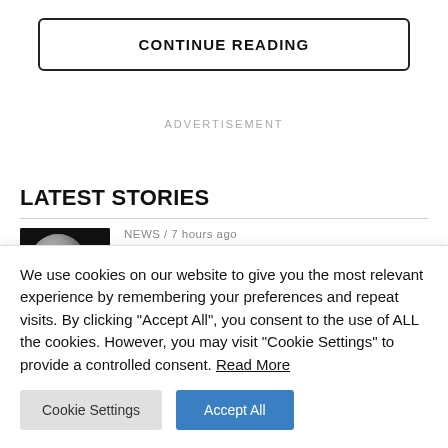CONTINUE READING
ADVERTISEMENT
LATEST STORIES
NEWS / 7 hours ago
NASA has selected possible areas for
We use cookies on our website to give you the most relevant experience by remembering your preferences and repeat visits. By clicking "Accept All", you consent to the use of ALL the cookies. However, you may visit "Cookie Settings" to provide a controlled consent. Read More
Cookie Settings
Accept All